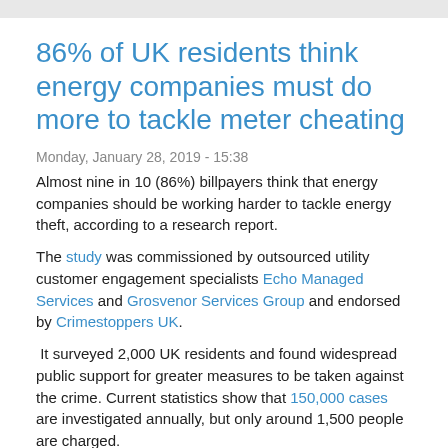86% of UK residents think energy companies must do more to tackle meter cheating
Monday, January 28, 2019 - 15:38
Almost nine in 10 (86%) billpayers think that energy companies should be working harder to tackle energy theft, according to a research report.
The study was commissioned by outsourced utility customer engagement specialists Echo Managed Services and Grosvenor Services Group and endorsed by Crimestoppers UK.
It surveyed 2,000 UK residents and found widespread public support for greater measures to be taken against the crime. Current statistics show that 150,000 cases are investigated annually, but only around 1,500 people are charged. Amongst those who advocate further action, 43% said it's